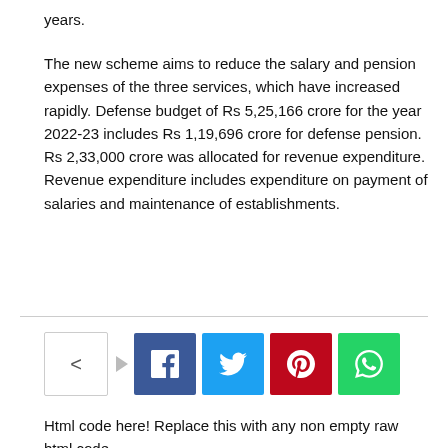years.
The new scheme aims to reduce the salary and pension expenses of the three services, which have increased rapidly. Defense budget of Rs 5,25,166 crore for the year 2022-23 includes Rs 1,19,696 crore for defense pension. Rs 2,33,000 crore was allocated for revenue expenditure. Revenue expenditure includes expenditure on payment of salaries and maintenance of establishments.
Html code here! Replace this with any non empty raw html code